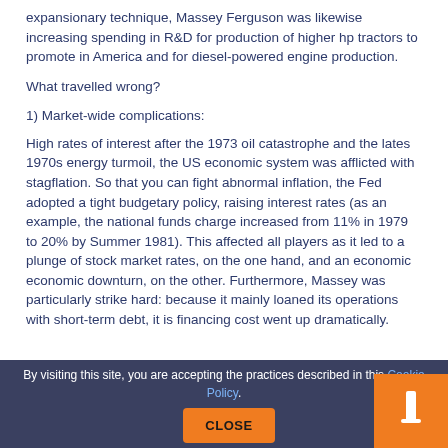expansionary technique, Massey Ferguson was likewise increasing spending in R&D for production of higher hp tractors to promote in America and for diesel-powered engine production.
What travelled wrong?
1) Market-wide complications:
High rates of interest after the 1973 oil catastrophe and the lates 1970s energy turmoil, the US economic system was afflicted with stagflation. So that you can fight abnormal inflation, the Fed adopted a tight budgetary policy, raising interest rates (as an example, the national funds charge increased from 11% in 1979 to 20% by Summer 1981). This affected all players as it led to a plunge of stock market rates, on the one hand, and an economic economic downturn, on the other. Furthermore, Massey was particularly strike hard: because it mainly loaned its operations with short-term debt, it is financing cost went up dramatically.
By visiting this site, you are accepting the practices described in this Cookie Policy.